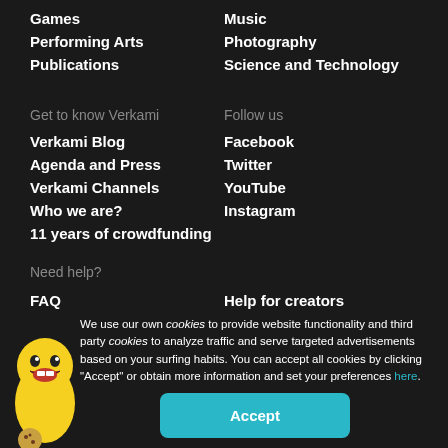Games
Performing Arts
Publications
Music
Photography
Science and Technology
Get to know Verkami
Verkami Blog
Agenda and Press
Verkami Channels
Who we are?
11 years of crowdfunding
Follow us
Facebook
Twitter
YouTube
Instagram
Need help?
FAQ
Help for creators
We use our own cookies to provide website functionality and third party cookies to analyze traffic and serve targeted advertisements based on your surfing habits. You can accept all cookies by clicking “Accept” or obtain more information and set your preferences here.
Accept